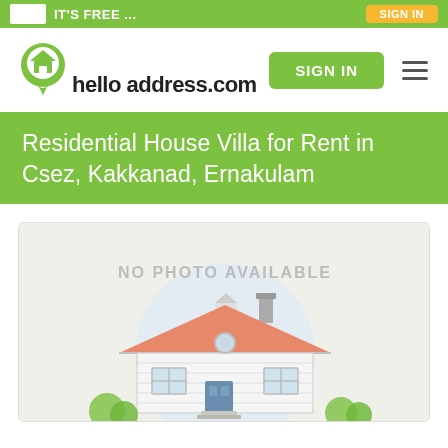IT'S FREE...
[Figure (logo): helloaddress.com logo with map pin icon containing a house]
SIGN IN
Residential House Villa for Rent in Csez, Kakkanad, Ernakulam
[Figure (illustration): No photo available placeholder with illustrated house]